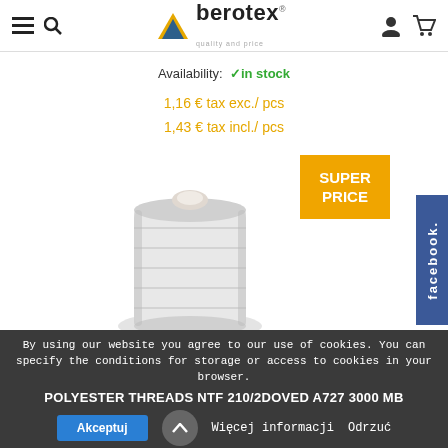berotex - navigation header with hamburger menu, search, logo, user account and cart icons
Availability: ✓in stock
1,16 € tax exc./ pcs
1,43 € tax incl./ pcs
[Figure (photo): White polyester thread spool/bobbin product image on white background]
SUPER PRICE
[Figure (other): Facebook sidebar tab in blue]
By using our website you agree to our use of cookies. You can specify the conditions for storage or access to cookies in your browser.
POLYESTER THREADS NTF 210/2DOVED A727 3000 MB
Akceptuj   Więcej informacji   Odrzuć